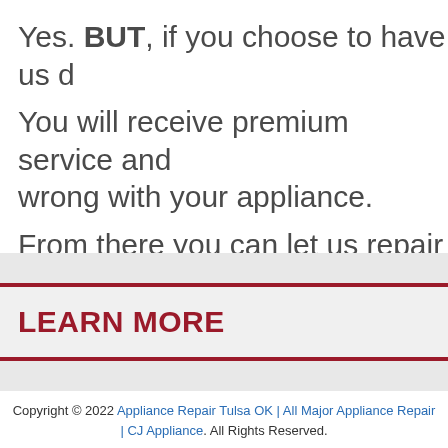Yes. BUT, if you choose to have us d… You will receive premium service and… wrong with your appliance. From there you can let us repair it or … based on the expert information we w…
LEARN MORE
Copyright © 2022 Appliance Repair Tulsa OK | All Major Appliance Repair | CJ Appliance. All Rights Reserved.